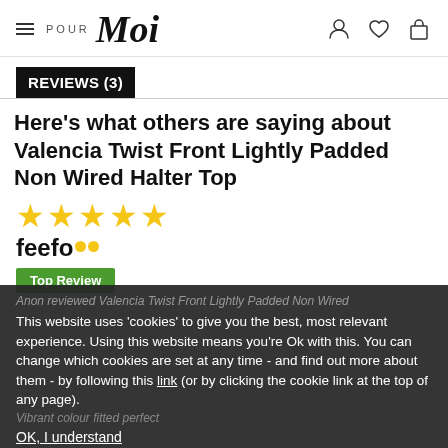Pour Moi — navigation header with hamburger menu, logo, and icons for account, wishlist, and bag
REVIEWS (3)
Here's what others are saying about Valencia Twist Front Lightly Padded Non Wired Halter Top
[Figure (other): Five gold stars rating]
[Figure (logo): Feefo logo with two gold dots]
Top Review
Anon reviewed Valencia Twist Front Lightly Padded Non Wired
This website uses 'cookies' to give you the best, most relevant experience. Using this website means you're Ok with this. You can change which cookies are set at any time - and find out more about them - by following this link (or by clicking the cookie link at the top of any page).
Vibrant colour fitted perfect
OK, I understand
[Figure (other): Gold stars rating (partial)]
feefo